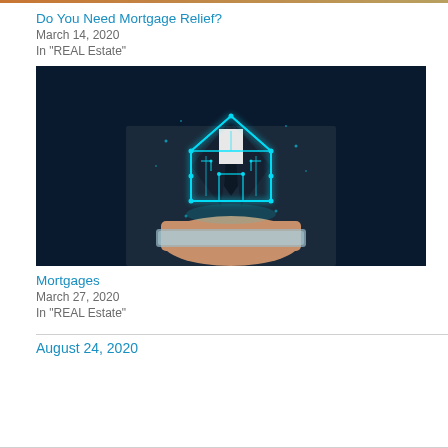Do You Need Mortgage Relief?
March 14, 2020
In "REAL Estate"
[Figure (photo): Person in dark suit holding a tablet from which a glowing cyan circuit-board house shape rises, against a dark blue background]
Mortgages
March 27, 2020
In "REAL Estate"
August 24, 2020